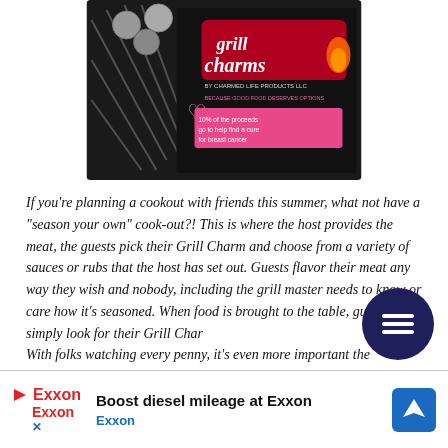[Figure (photo): Photo of Grill Charms product packaging — a dark box with red and white 'grill charms by Charmed Life Products LLC' branding and a pink ribbon, showing BBQ skewer charms. Text on package mentions '10% of the proceeds go to help find a cure for breast cancer'.]
If you're planning a cookout with friends this summer, what not have a "season your own" cook-out?! This is where the host provides the meat, the guests pick their Grill Charm and choose from a variety of sauces or rubs that the host has set out. Guests flavor their meat any way they wish and nobody, including the grill master needs to know or care how it's seasoned. When food is brought to the table, guests simply look for their Grill Char...
With folks watching every penny, it's even more important then ever that when people splurge on buying that beef tenderloin fillet, or care... rned money d... want
[Figure (other): Dark navy circular menu/hamburger button icon overlaid in the lower right area of the article]
[Figure (other): Exxon advertisement banner at the bottom: 'Boost diesel mileage at Exxon' with Exxon logo and blue navigation arrow icon]